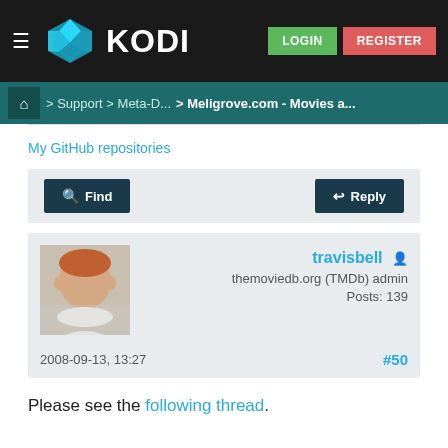KODI — LOGIN REGISTER
Home > Support > Meta-D... > Meligrove.com - Movies a...
My GitHub repositories
Find   Reply
travisbell
themoviedb.org (TMDb) admin
Posts: 139
2008-09-13, 13:27   #50
Please see the following thread.